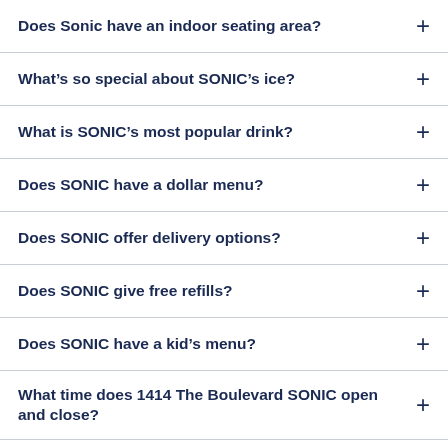Does Sonic have an indoor seating area?
What’s so special about SONIC’s ice?
What is SONIC’s most popular drink?
Does SONIC have a dollar menu?
Does SONIC offer delivery options?
Does SONIC give free refills?
Does SONIC have a kid’s menu?
What time does 1414 The Boulevard SONIC open and close?
How does the SONIC Order Ahead option work?